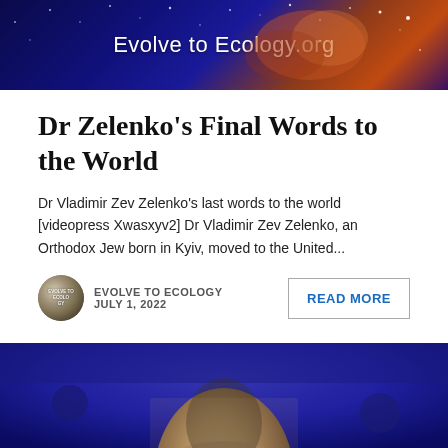[Figure (photo): Dark blue and orange space/galaxy banner image with text 'Evolve to Ecology.org' in white]
Dr Zelenko’s Final Words to the World
Dr Vladimir Zev Zelenko's last words to the world [videopress Xwasxyv2] Dr Vladimir Zev Zelenko, an Orthodox Jew born in Kyiv, moved to the United...
EVOLVE TO ECOLOGY
JULY 1, 2022
READ MORE
[Figure (photo): Photo of a man against a blue background, partially visible, showing head and upper torso]